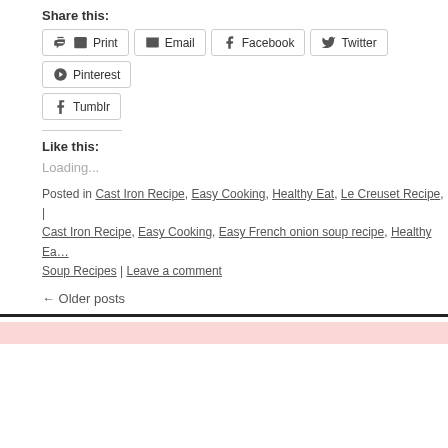Share this:
Print | Email | Facebook | Twitter | Pinterest | Tumblr
Like this:
Loading...
Posted in Cast Iron Recipe, Easy Cooking, Healthy Eat, Le Creuset Recipe, | Cast Iron Recipe, Easy Cooking, Easy French onion soup recipe, Healthy Ea… Soup Recipes | Leave a comment
← Older posts
Little Panda Mommy Kitchen